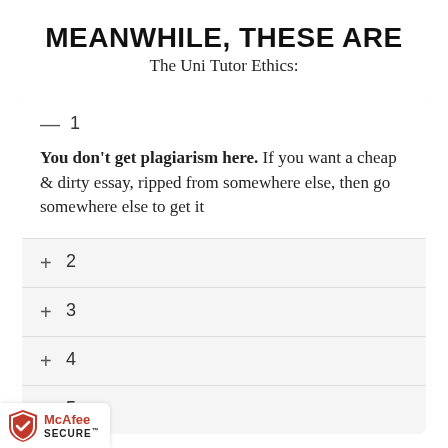MEANWHILE, THESE ARE
The Uni Tutor Ethics:
— 1 (expanded): You don't get plagiarism here. If you want a cheap & dirty essay, ripped from somewhere else, then go somewhere else to get it
+ 2
+ 3
+ 4
+ 5 (partial)
[Figure (logo): McAfee SECURE badge with shield logo in red and white]